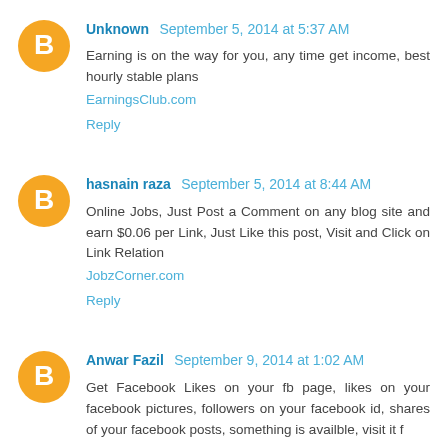[Figure (illustration): Orange circular Blogger avatar icon with white 'B' letter]
Unknown  September 5, 2014 at 5:37 AM
Earning is on the way for you, any time get income, best hourly stable plans
EarningsClub.com
Reply
[Figure (illustration): Orange circular Blogger avatar icon with white 'B' letter]
hasnain raza  September 5, 2014 at 8:44 AM
Online Jobs, Just Post a Comment on any blog site and earn $0.06 per Link, Just Like this post, Visit and Click on Link Relation
JobzCorner.com
Reply
[Figure (illustration): Orange circular Blogger avatar icon with white 'B' letter]
Anwar Fazil  September 9, 2014 at 1:02 AM
Get Facebook Likes on your fb page, likes on your facebook pictures, followers on your facebook id, shares of your facebook posts, something is available, visit it for